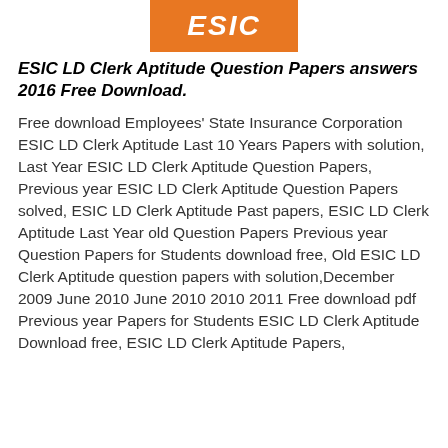[Figure (logo): ESIC logo — white italic bold text on orange rectangle background]
ESIC LD Clerk Aptitude Question Papers answers 2016 Free Download.
Free download Employees' State Insurance Corporation ESIC LD Clerk Aptitude Last 10 Years Papers with solution, Last Year ESIC LD Clerk Aptitude Question Papers, Previous year ESIC LD Clerk Aptitude Question Papers solved, ESIC LD Clerk Aptitude Past papers, ESIC LD Clerk Aptitude Last Year old Question Papers Previous year Question Papers for Students download free, Old ESIC LD Clerk Aptitude question papers with solution,December 2009 June 2010 June 2010 2010 2011 Free download pdf Previous year Papers for Students ESIC LD Clerk Aptitude Download free, ESIC LD Clerk Aptitude Papers,